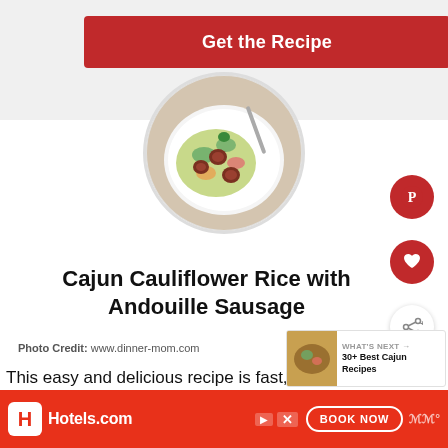Get the Recipe
[Figure (photo): Circular photo of Cajun Cauliflower Rice with Andouille Sausage on a white plate with fork]
Cajun Cauliflower Rice with Andouille Sausage
Photo Credit: www.dinner-mom.com
[Figure (photo): Small thumbnail of Cajun dish next to WHAT'S NEXT label and 30+ Best Cajun Recipes text]
This easy and delicious recipe is fast, flavorful, and low-carb! Perfect for a busy night or entertaining.
[Figure (other): Hotels.com advertisement banner with BOOK NOW button]